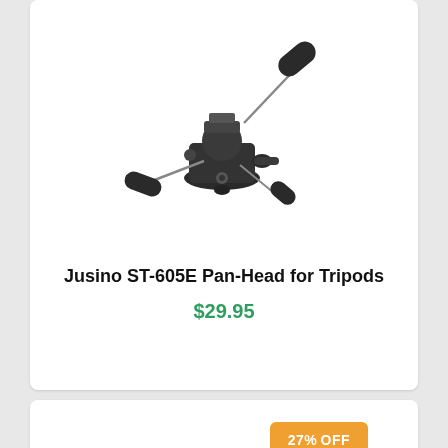[Figure (photo): Jusino ST-605E Pan-Head for Tripods product photo showing a black pan-head tripod mount with multiple arms/handles]
Jusino ST-605E Pan-Head for Tripods
$29.95
[Figure (photo): Second tripod head product photo with a 27% off discount badge in orange]
27% OFF